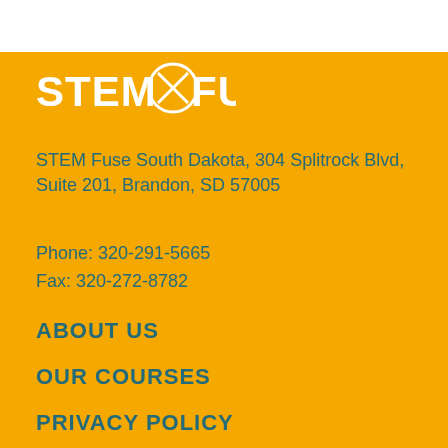[Figure (logo): STEM Fuse logo: white text and circle/X icon on orange background]
STEM Fuse South Dakota, 304 Splitrock Blvd, Suite 201, Brandon, SD 57005
Phone: 320-291-5665
Fax: 320-272-8782
ABOUT US
OUR COURSES
PRIVACY POLICY